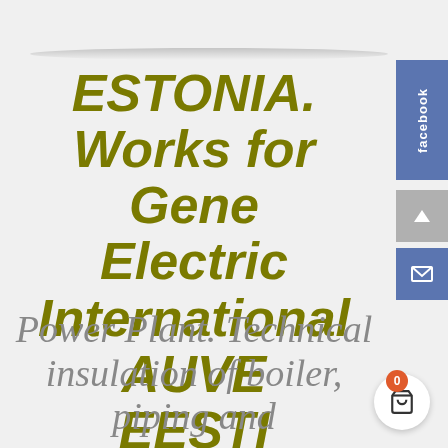ESTONIA. Works for General Electric International AUVE EESTI ENERGIA 2 x 300MW CBF
Power Plant. Technical insulation of boiler, piping and equipments 2016-2018